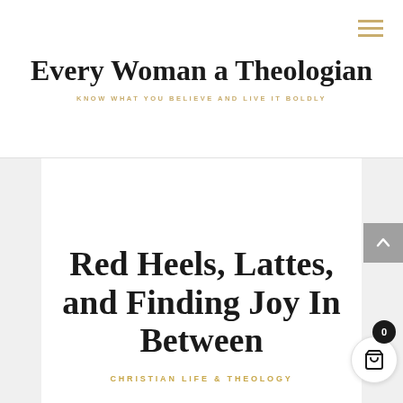Every Woman a Theologian
KNOW WHAT YOU BELIEVE AND LIVE IT BOLDLY
Red Heels, Lattes, and Finding Joy In Between
CHRISTIAN LIFE & THEOLOGY